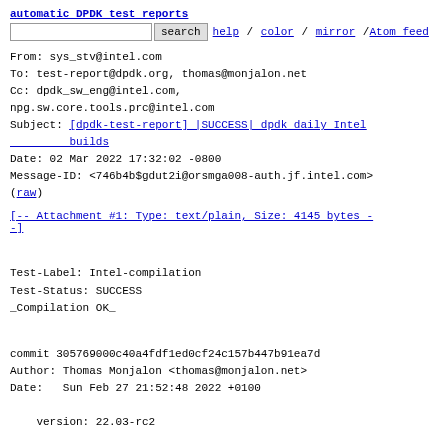automatic DPDK test reports
search   help / color / mirror / Atom feed
From: sys_stv@intel.com
To: test-report@dpdk.org, thomas@monjalon.net
Cc: dpdk_sw_eng@intel.com,
npg.sw.core.tools.prc@intel.com
Subject: [dpdk-test-report] |SUCCESS| dpdk daily Intel builds
Date: 02 Mar 2022 17:32:02 -0800
Message-ID: <746b4b$gdut2i@orsmga008-auth.jf.intel.com>
(raw)
[-- Attachment #1: Type: text/plain, Size: 4145 bytes --]
Test-Label: Intel-compilation
Test-Status: SUCCESS
_Compilation OK_
commit 305769000c40a4fdf1ed0cf24c157b447b91ea7d
Author: Thomas Monjalon <thomas@monjalon.net>
Date:   Sun Feb 27 21:52:48 2022 +0100

    version: 22.03-rc2